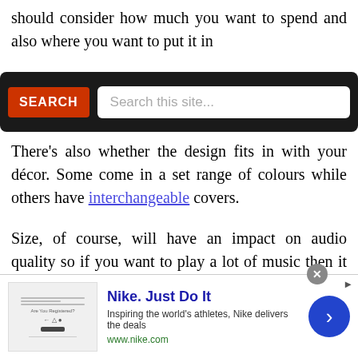should consider how much you want to spend and also where you want to put it in [the Google ...ot, will fit in] more places, for example.
[Figure (screenshot): Search overlay with red SEARCH button and white search input box with placeholder 'Search this site...']
There's also whether the design fits in with your décor. Some come in a set range of colours while others have interchangeable covers.
Size, of course, will have an impact on audio quality so if you want to play a lot of music then it will be worth spending a bit more on a bigger model. The Sonos One and Apple HomePod are two options.
[Figure (screenshot): Nike advertisement banner: 'Nike. Just Do It — Inspiring the world's athletes, Nike delivers the deals — www.nike.com' with forward arrow button]